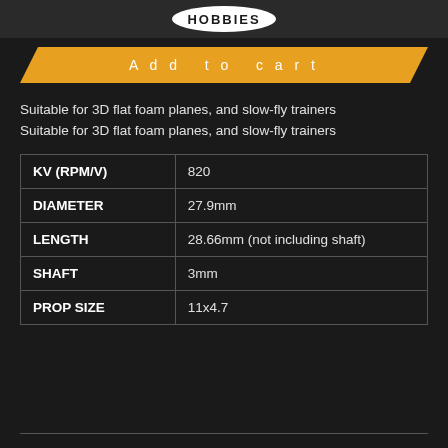[Figure (logo): Hobbies brand logo at top]
Add to cart
Suitable for 3D flat foam planes, and slow-fly trainers
Suitable for 3D flat foam planes, and slow-fly trainers
|  |  |
| --- | --- |
| KV (RPM/V) | 820 |
| DIAMETER | 27.9mm |
| LENGTH | 28.66mm (not including shaft) |
| SHAFT | 3mm |
| PROP SIZE | 11x4.7 |